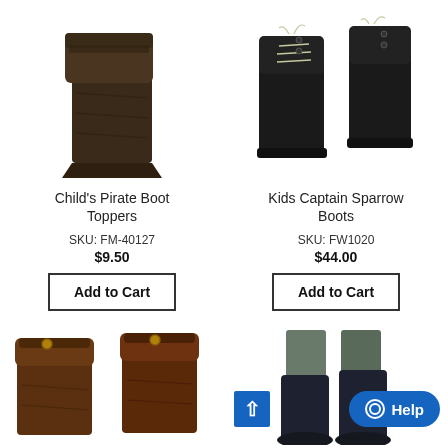[Figure (photo): Child's pirate boot toppers - dark brown/black folded boot covers]
Child's Pirate Boot Toppers
SKU: FM-40127
$9.50
Add to Cart
[Figure (photo): Kids Captain Sparrow Boots - black lace-up pirate style boots, pair shown]
Kids Captain Sparrow Boots
SKU: FW1020
$44.00
Add to Cart
[Figure (photo): Brown leather-look pirate boot covers, two colors shown side by side]
[Figure (photo): Person wearing tall dark boots with pants tucked in]